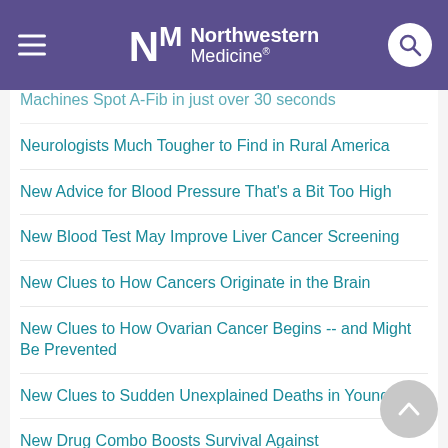Northwestern Medicine
Machines Spot A-Fib in just over 30 seconds
Neurologists Much Tougher to Find in Rural America
New Advice for Blood Pressure That's a Bit Too High
New Blood Test May Improve Liver Cancer Screening
New Clues to How Cancers Originate in the Brain
New Clues to How Ovarian Cancer Begins -- and Might Be Prevented
New Clues to Sudden Unexplained Deaths in Young Kids
New Drug Combo Boosts Survival Against